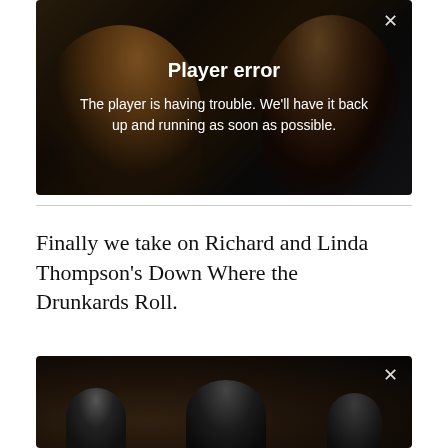[Figure (screenshot): Video player showing two musicians performing (guitarist on left, saxophonist on right) with a 'Player error' overlay message and a close (X) button in top right corner.]
Player error
The player is having trouble. We'll have it back up and running as soon as possible.
Finally we take on Richard and Linda Thompson's Down Where the Drunkards Roll.
[Figure (screenshot): Video player showing dark silhouettes of multiple musicians performing, with a close (X) button in the top right corner.]